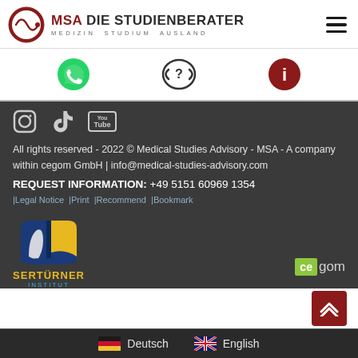[Figure (logo): MSA Die Studienberater logo with circular emblem and text MSA DIE STUDIENBERATER MEDIZIN STUDIUM AUSLAND]
[Figure (infographic): Header icon bar with WhatsApp icon, FAQ phone icon, and info icon]
[Figure (infographic): Social media icons: Instagram, TikTok, YouTube]
All rights reserved - 2022 © Medical Studies Advisory - MSA - A company within cegom GmbH | info@medical-studies-advisory.com
REQUEST INFORMATION: +49 5151 60969 1354
|Legal Notice |Print |Recommend |Bookmark
[Figure (logo): Sertürner Institut logo - open book with face silhouette, yellow and blue]
[Figure (logo): cegom logo - green ce box with gom text]
[Figure (infographic): Language selector with German flag (Deutsch) and UK flag (English)]